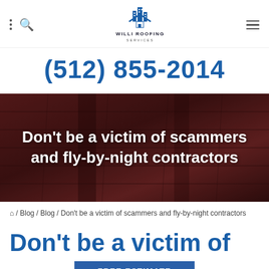Willi Roofing Services – navigation bar with logo, search, and menu icons
(512) 855-2014
[Figure (photo): Dark reddish-brown roof shingles close-up background image with white overlay text: Don't be a victim of scammers and fly-by-night contractors]
Don't be a victim of scammers and fly-by-night contractors
⌂ / Blog / Blog / Don't be a victim of scammers and fly-by-night contractors
Don't be a victim of